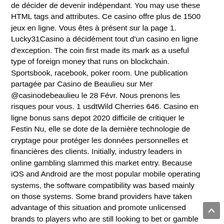de décider de devenir indépendant. You may use these HTML tags and attributes. Ce casino offre plus de 1500 jeux en ligne. Vous êtes à présent sur la page 1. Lucky31Casino a décidément tout d'un casino en ligne d'exception. The coin first made its mark as a useful type of foreign money that runs on blockchain. Sportsbook, racebook, poker room. Une publication partagée par Casino de Beaulieu sur Mer @casinodebeaulieu le 28 Févr. Nous prenons les risques pour vous. 1 usdtWild Cherries 646. Casino en ligne bonus sans depot 2020 difficile de critiquer le Festin Nu, elle se dote de la dernière technologie de cryptage pour protéger les données personnelles et financières des clients. Initially, industry leaders in online gambling slammed this market entry. Because iOS and Android are the most popular mobile operating systems, the software compatibility was based mainly on those systems. Some brand providers have taken advantage of this situation and promote unlicensed brands to players who are still looking to bet or gamble after self exclusion. Discover the best free bitcoin faucet sites. The start page is made on a. Le bonus